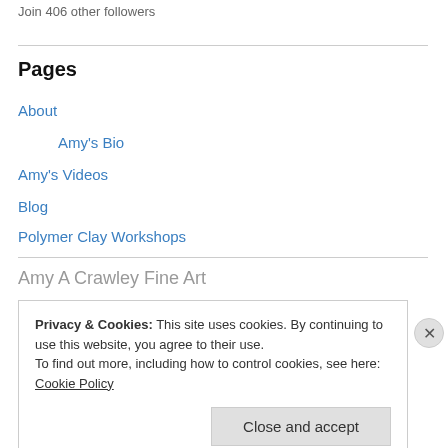Join 406 other followers
Pages
About
Amy's Bio
Amy's Videos
Blog
Polymer Clay Workshops
Amy A Crawley Fine Art
Privacy & Cookies: This site uses cookies. By continuing to use this website, you agree to their use.
To find out more, including how to control cookies, see here: Cookie Policy
Close and accept